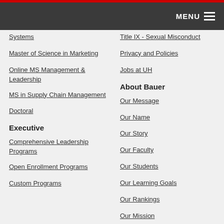MENU
Systems
Master of Science in Marketing
Online MS Management & Leadership
MS in Supply Chain Management
Doctoral
Executive
Comprehensive Leadership Programs
Open Enrollment Programs
Custom Programs
Title IX - Sexual Misconduct
Privacy and Policies
Jobs at UH
About Bauer
Our Message
Our Name
Our Story
Our Faculty
Our Students
Our Learning Goals
Our Rankings
Our Mission
Bauer College Board
Faculty & Staff
Directory